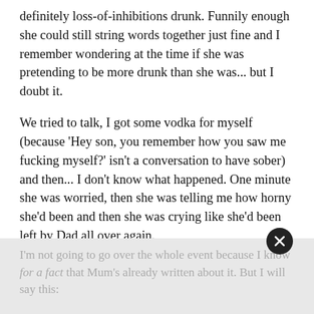definitely loss-of-inhibitions drunk. Funnily enough she could still string words together just fine and I remember wondering at the time if she was pretending to be more drunk than she was... but I doubt it.
We tried to talk, I got some vodka for myself (because 'Hey son, you remember how you saw me fucking myself?' isn't a conversation to have sober) and then... I don't know what happened. One minute she was worried, then she was telling me how horny she'd been and then she was crying like she'd been left by Dad all over again.
And then she was kissing me, and I was kissing her back and...
I'm not going to go over the whole event because I know for a fact that Mum's already written about it. But I will say this: